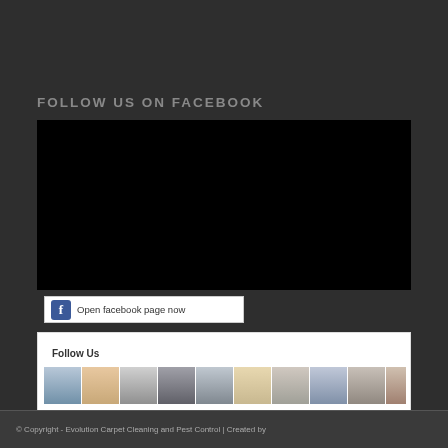FOLLOW US ON FACEBOOK
[Figure (screenshot): Facebook embed widget area showing a dark/black rectangular embed box]
Open facebook page now
[Figure (screenshot): Follow Us widget with a row of profile photo thumbnails of various people]
© Copyright - Evolution Carpet Cleaning and Pest Control | Created by